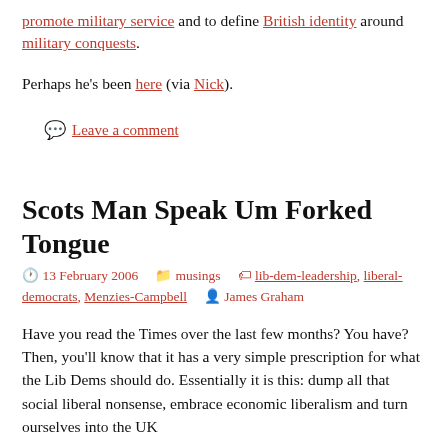promote military service and to define British identity around military conquests.
Perhaps he’s been here (via Nick).
💬 Leave a comment
Scots Man Speak Um Forked Tongue
13 February 2006   musings   lib-dem-leadership, liberal-democrats, Menzies-Campbell   James Graham
Have you read the Times over the last few months? You have? Then, you’ll know that it has a very simple prescription for what the Lib Dems should do. Essentially it is this: dump all that social liberal nonsense, embrace economic liberalism and turn ourselves into the UK